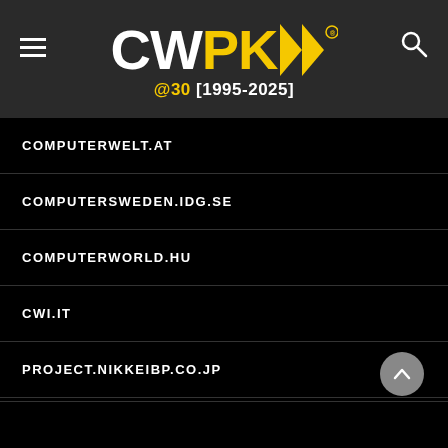[Figure (logo): CWPK logo with yellow arrows and subtitle @30 [1995-2025] on dark grey header background]
COMPUTERWELT.AT
COMPUTERSWEDEN.IDG.SE
COMPUTERWORLD.HU
CWI.IT
PROJECT.NIKKEIBP.CO.JP